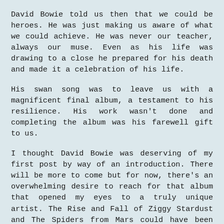David Bowie told us then that we could be heroes. He was just making us aware of what we could achieve. He was never our teacher, always our muse. Even as his life was drawing to a close he prepared for his death and made it a celebration of his life.
His swan song was to leave us with a magnificent final album, a testament to his resilience. His work wasn't done and completing the album was his farewell gift to us.
I thought David Bowie was deserving of my first post by way of an introduction. There will be more to come but for now, there's an overwhelming desire to reach for that album that opened my eyes to a truly unique artist. The Rise and Fall of Ziggy Stardust and The Spiders from Mars could have been released fifty years ago or fifty years from now and it would still sound just as good. That in itself is a unique achievement.
And as he told us.... 'I don't know where I'll be going from here but I do know it won't be boring.